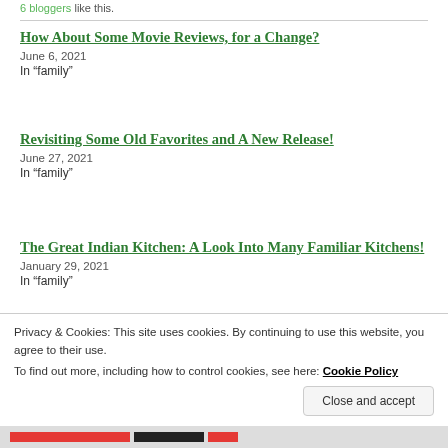6 bloggers like this.
How About Some Movie Reviews, for a Change?
June 6, 2021
In "family"
Revisiting Some Old Favorites and A New Release!
June 27, 2021
In "family"
The Great Indian Kitchen: A Look Into Many Familiar Kitchens!
January 29, 2021
In "family"
Privacy & Cookies: This site uses cookies. By continuing to use this website, you agree to their use.
To find out more, including how to control cookies, see here: Cookie Policy
Close and accept